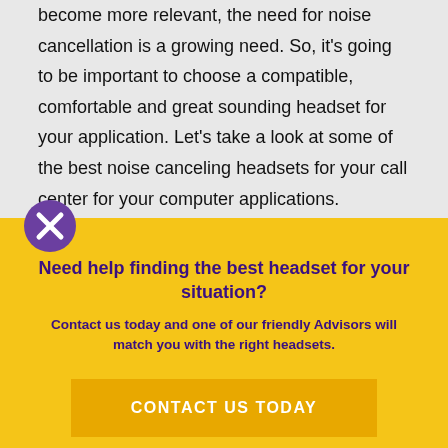become more relevant, the need for noise cancellation is a growing need. So, it's going to be important to choose a compatible, comfortable and great sounding headset for your application. Let's take a look at some of the best noise canceling headsets for your call center for your computer applications.
[Figure (other): Purple circle with white X icon (close button)]
Need help finding the best headset for your situation?
Contact us today and one of our friendly Advisors will match you with the right headsets.
CONTACT US TODAY